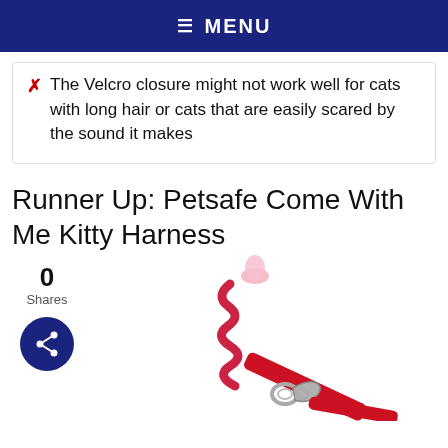MENU
The Velcro closure might not work well for cats with long hair or cats that are easily scared by the sound it makes
Runner Up: Petsafe Come With Me Kitty Harness
0 Shares
[Figure (photo): Photo of a red Petsafe Come With Me Kitty Harness leash with bungee cord and metal clasp connector]